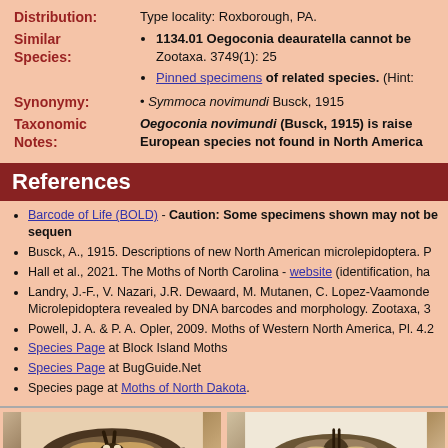Distribution: Type locality: Roxborough, PA.
Similar Species: 1134.01 Oegoconia deauratella cannot be... Zootaxa. 3749(1): 25 / Pinned specimens of related species. (Hint...
Synonymy: • Symmoca novimundi Busck, 1915
Taxonomic Notes: Oegoconia novimundi (Busck, 1915) is raised... European species not found in North America...
References
Barcode of Life (BOLD) - Caution: Some specimens shown may not be sequenced...
Busck, A., 1915. Descriptions of new North American microlepidoptera. P...
Hall et al., 2021. The Moths of North Carolina - website (identification, ha...
Landry, J.-F., V. Nazari, J.R. Dewaard, M. Mutanen, C. Lopez-Vaamonde... Microlepidoptera revealed by DNA barcodes and morphology. Zootaxa, 3...
Powell, J. A. & P. A. Opler, 2009. Moths of Western North America, Pl. 4.2...
Species Page at Block Island Moths
Species Page at BugGuide.Net
Species page at Moths of North Dakota.
[Figure (photo): Two moth specimen photos side by side at the bottom of the page]